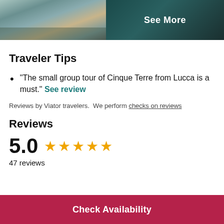[Figure (photo): Two travel photos side by side: left shows an aerial coastal view with beach and buildings; right shows a dark teal water scene with 'See More' overlay text]
Traveler Tips
"The small group tour of Cinque Terre from Lucca is a must." See review
Reviews by Viator travelers.  We perform checks on reviews
Reviews
5.0 ★★★★★
47 reviews
Check Availability